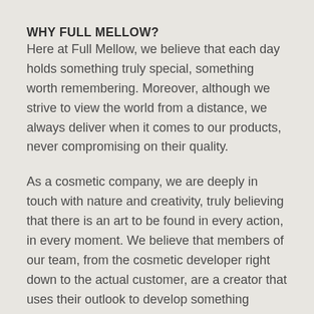WHY FULL MELLOW?
Here at Full Mellow, we believe that each day holds something truly special, something worth remembering. Moreover, although we strive to view the world from a distance, we always deliver when it comes to our products, never compromising on their quality.
As a cosmetic company, we are deeply in touch with nature and creativity, truly believing that there is an art to be found in every action, in every moment. We believe that members of our team, from the cosmetic developer right down to the actual customer, are a creator that uses their outlook to develop something enticingly beautiful.
We emphasise ethics, and that is why all our products